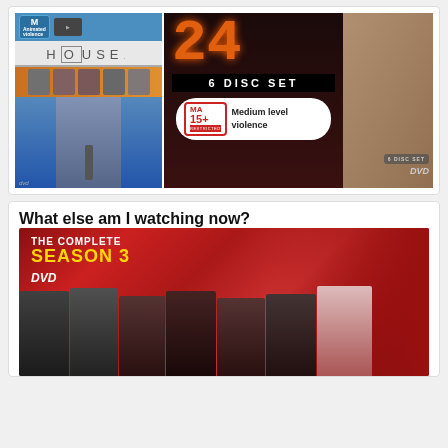[Figure (photo): DVD covers showing House M.D. (left) and 24 Season 2 (right, 6 disc set) with MA 15+ restricted rating label showing 'Medium level violence']
What else am I watching now?
[Figure (photo): DVD cover for The Complete Season 3 DVD set, with group of TV show cast members posed against a red city background]